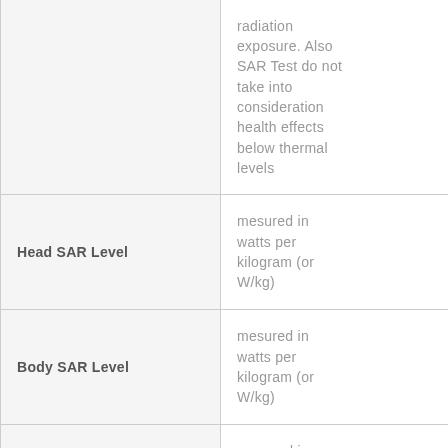| Term | Description |
| --- | --- |
|  | radiation exposure. Also SAR Test do not take into consideration health effects below thermal levels |
| Head SAR Level | mesured in watts per kilogram (or W/kg) |
| Body SAR Level | mesured in watts per kilogram (or W/kg) |
| Product Specific Use | mesured in watts per kilogram (or W/kg) |
| Simultaneous | mesured in watts per |